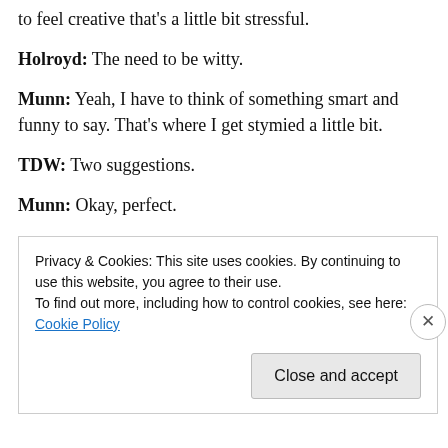to feel creative that's a little bit stressful.
Holroyd: The need to be witty.
Munn: Yeah, I have to think of something smart and funny to say. That's where I get stymied a little bit.
TDW: Two suggestions.
Munn: Okay, perfect.
TDW: Mike Grubbs [Grubbs], he has a blog. And he does little blog posts but he also does short little videos from the
Privacy & Cookies: This site uses cookies. By continuing to use this website, you agree to their use. To find out more, including how to control cookies, see here: Cookie Policy